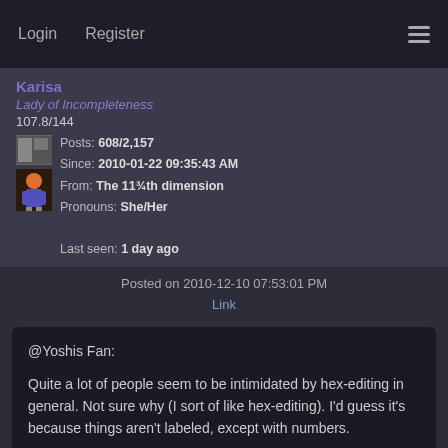Login   Register
Karisa
Lady of Incompleteness
107.8/144
Posts: 608/2,157
Since: 2010-01-22 09:35:43 AM
From: The 11¾th dimension
Pronouns: She/Her
Last seen: 1 day ago
Posted on 2010-12-10 07:53:01 PM
Link
@Yoshis Fan:

Quite a lot of people seem to be intimidated by hex-editing in general. Not sure why (I sort of like hex-editing). I'd guess it's because things aren't labeled, except with numbers.

Anyway, message block repointing is probably more complex to explain than most of the other things in the FAQ. Mainly because you're not dealing with fixed offsets (you have to choose an offset for the message, and calculate one for the pointer). Then there are things like reversing the byte order